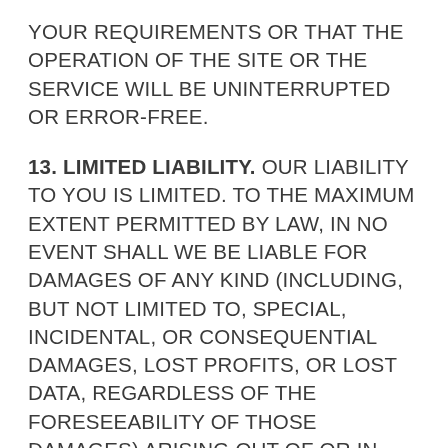YOUR REQUIREMENTS OR THAT THE OPERATION OF THE SITE OR THE SERVICE WILL BE UNINTERRUPTED OR ERROR-FREE.
13. LIMITED LIABILITY. OUR LIABILITY TO YOU IS LIMITED. TO THE MAXIMUM EXTENT PERMITTED BY LAW, IN NO EVENT SHALL WE BE LIABLE FOR DAMAGES OF ANY KIND (INCLUDING, BUT NOT LIMITED TO, SPECIAL, INCIDENTAL, OR CONSEQUENTIAL DAMAGES, LOST PROFITS, OR LOST DATA, REGARDLESS OF THE FORESEEABILITY OF THOSE DAMAGES) ARISING OUT OF OR IN CONNECTION WITH YOUR USE OF THE SITE OR ANY OTHER MATERIALS OR SERVICES PROVIDED TO YOU BY US. This limitation shall